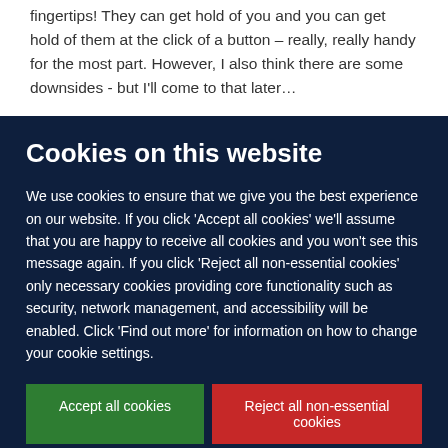fingertips! They can get hold of you and you can get hold of them at the click of a button – really, really handy for the most part. However, I also think there are some downsides - but I'll come to that later…
Cookies on this website
We use cookies to ensure that we give you the best experience on our website. If you click 'Accept all cookies' we'll assume that you are happy to receive all cookies and you won't see this message again. If you click 'Reject all non-essential cookies' only necessary cookies providing core functionality such as security, network management, and accessibility will be enabled. Click 'Find out more' for information on how to change your cookie settings.
Accept all cookies | Reject all non-essential cookies | Find out more